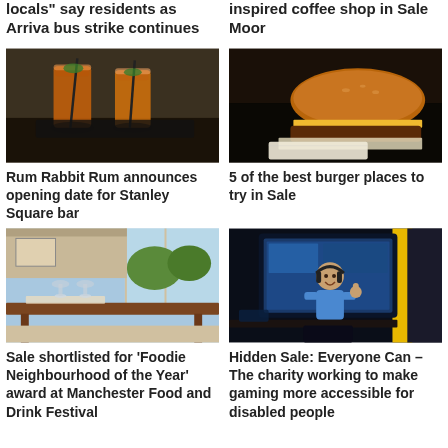locals” say residents as Arriva bus strike continues
inspired coffee shop in Sale Moor
[Figure (photo): Two orange cocktails with ice and fruit garnish on a dark surface]
[Figure (photo): Close-up of a cheese burger wrapped in paper]
Rum Rabbit Rum announces opening date for Stanley Square bar
5 of the best burger places to try in Sale
[Figure (photo): Restaurant interior with tables set for dining and large windows]
[Figure (photo): Child with headphones sitting at a gaming setup giving thumbs up]
Sale shortlisted for ‘Foodie Neighbourhood of the Year’ award at Manchester Food and Drink Festival
Hidden Sale: Everyone Can – The charity working to make gaming more accessible for disabled people